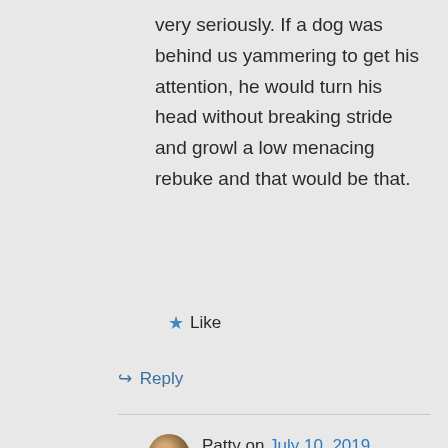very seriously. If a dog was behind us yammering to get his attention, he would turn his head without breaking stride and growl a low menacing rebuke and that would be that.
★ Like
↪ Reply
Patty on July 10, 2019 at 1:33 pm
Well, that reminds me of one day while I